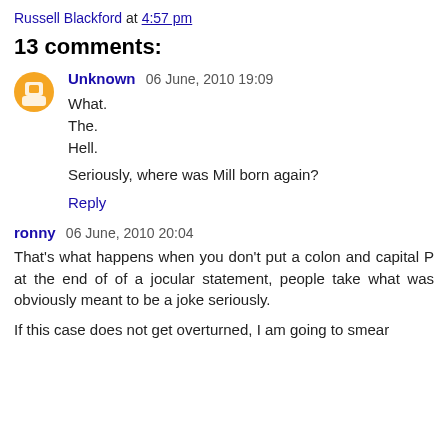Russell Blackford at 4:57 pm
13 comments:
Unknown 06 June, 2010 19:09
What.
The.
Hell.

Seriously, where was Mill born again?
Reply
ronny 06 June, 2010 20:04
That's what happens when you don't put a colon and capital P at the end of of a jocular statement, people take what was obviously meant to be a joke seriously.

If this case does not get overturned, I am going to smear